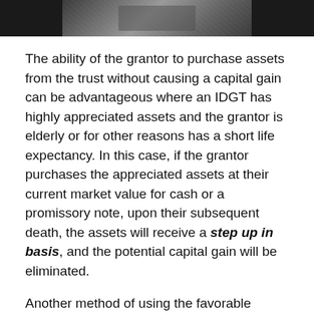[Figure (photo): Partial photo of a person, cropped at top of page, dark tones]
The ability of the grantor to purchase assets from the trust without causing a capital gain can be advantageous where an IDGT has highly appreciated assets and the grantor is elderly or for other reasons has a short life expectancy. In this case, if the grantor purchases the appreciated assets at their current market value for cash or a promissory note, upon their subsequent death, the assets will receive a step up in basis, and the potential capital gain will be eliminated.
Another method of using the favorable attributes of a IDGT is for the grantor to fund the trust through a gift and then lend